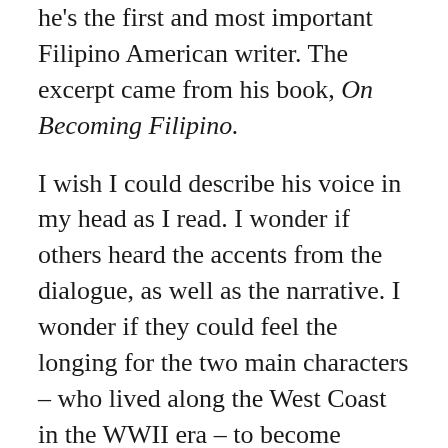he's the first and most important Filipino American writer. The excerpt came from his book, On Becoming Filipino.
I wish I could describe his voice in my head as I read. I wonder if others heard the accents from the dialogue, as well as the narrative. I wonder if they could feel the longing for the two main characters – who lived along the West Coast in the WWII era – to become American.
It's not that I internalized the piece; it's that the piece exhumed and awoke something already within me, gently poking to make sure it's still alive.
Reading that excerpt sort of messed with